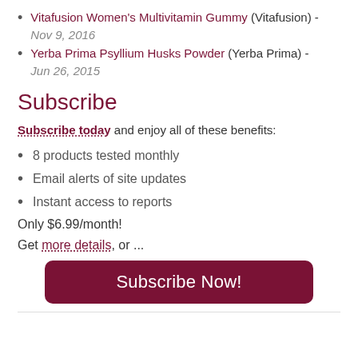Vitafusion Women's Multivitamin Gummy (Vitafusion) - Nov 9, 2016
Yerba Prima Psyllium Husks Powder (Yerba Prima) - Jun 26, 2015
Subscribe
Subscribe today and enjoy all of these benefits:
8 products tested monthly
Email alerts of site updates
Instant access to reports
Only $6.99/month!
Get more details, or ...
Subscribe Now!